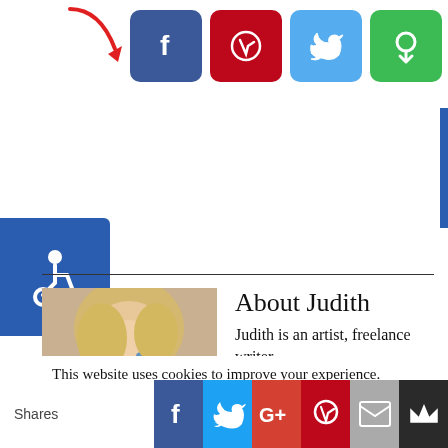[Figure (screenshot): Social media sharing buttons (Facebook, Pinterest, Twitter, Google+) with a red arrow pointing to them, and an accessibility button on the left side]
About Judith
Judith is an artist, freelance writer,
This website uses cookies to improve your experience. We'll assume you're ok with this, but you can opt-out if you wish.
[Figure (screenshot): Bottom share bar with Shares label, Facebook, Twitter, Google+, Pinterest, Email, and Crown social sharing buttons]